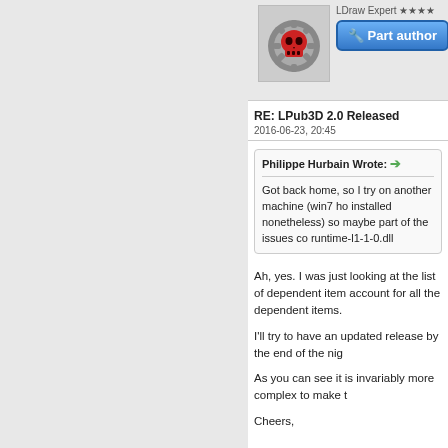[Figure (illustration): User avatar showing a skull with gear/cog icon in red and grey tones]
LDraw Expert ★★★★
[Figure (illustration): Part author badge button with wrench/screwdriver icon in blue gradient]
RE: LPub3D 2.0 Released
2016-06-23, 20:45
Philippe Hurbain Wrote: →
Got back home, so I try on another machine (win7 ho installed nonetheless) so maybe part of the issues co runtime-l1-1-0.dll
Ah, yes. I was just looking at the list of dependent item account for all the dependent items.
I'll try to have an updated release by the end of the nig
As you can see it is invariably more complex to make t
Cheers,